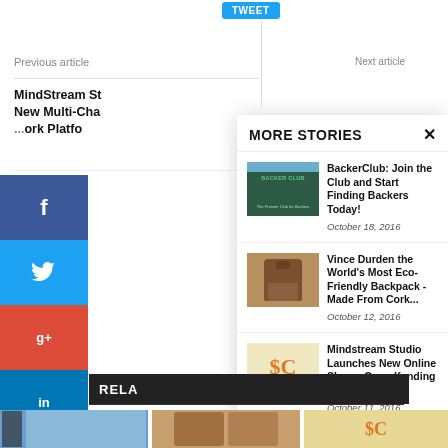TWEET
Previous article
Next article
MindStream St... New Multi-Cha... ...ork Platfo...
[Figure (screenshot): Social media share sidebar with Facebook, Twitter, Google+, LinkedIn, Pinterest, YouTube buttons]
MORE STORIES
[Figure (photo): BackerClub promotional image with city skyline]
BackerClub: Join the Club and Start Finding Backers Today!
October 18, 2016
[Figure (photo): Cork backpack photo]
Vince Durden the World's Most Eco-Friendly Backpack - Made From Cork...
October 12, 2016
[Figure (photo): Crowdfunding Voice logo with orange C]
Mindstream Studio Launches New Online Show - Crowdfunding Voice
October 11, 2016
RELA...
[Figure (photo): Bottom thumbnail row: city/tower, backpack, crowdfunding logo]